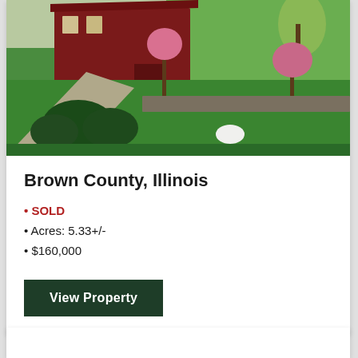[Figure (photo): Aerial or elevated view of a red barn/building with green landscaped grounds, ornamental trees with pink blossoms, shrubs, and a gravel path in Brown County, Illinois.]
Brown County, Illinois
SOLD
Acres: 5.33+/-
$160,000
View Property